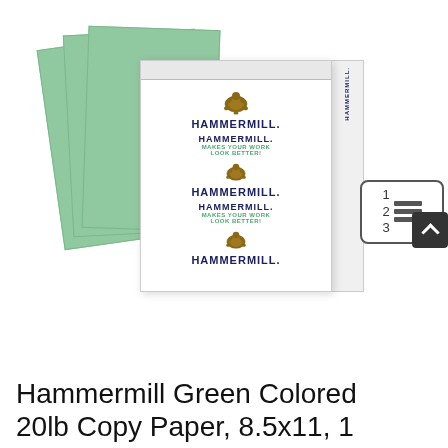[Figure (photo): Product photo of Hammermill Green Colored Copy Paper box with green paper sheets fanned out behind it. The box features the Hammermill brand name and turtle logo repeated multiple times. A list/menu icon overlay appears at the right side of the image.]
Hammermill Green Colored 20lb Copy Paper, 8.5x11, 1